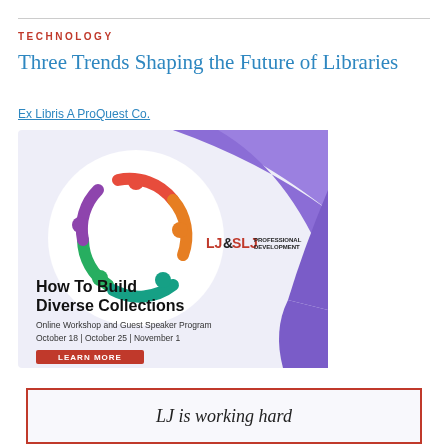TECHNOLOGY
Three Trends Shaping the Future of Libraries
Ex Libris A ProQuest Co.
[Figure (illustration): Advertisement for 'How To Build Diverse Collections' Online Workshop and Guest Speaker Program, October 18, October 25, November 1. Features colorful circular people logo and LJ&SLJ Professional Development branding with a LEARN MORE button on red background.]
LJ is working hard